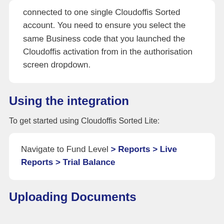connected to one single Cloudoffis Sorted account. You need to ensure you select the same Business code that you launched the Cloudoffis activation from in the authorisation screen dropdown.
Using the integration
To get started using Cloudoffis Sorted Lite:
Navigate to Fund Level > Reports > Live Reports > Trial Balance
Uploading Documents